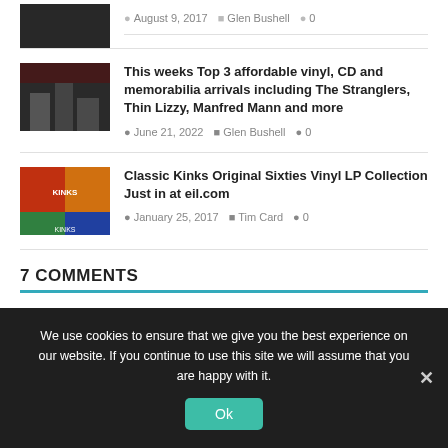[Figure (photo): Thumbnail image of a dark scene, partial view at top]
August 9, 2017  Glen Bushell  0
[Figure (photo): Thumbnail image of a band group photo]
This weeks Top 3 affordable vinyl, CD and memorabilia arrivals including The Stranglers, Thin Lizzy, Manfred Mann and more
June 21, 2022  Glen Bushell  0
[Figure (photo): Thumbnail image of colorful Classic Kinks vinyl LP collection]
Classic Kinks Original Sixties Vinyl LP Collection Just in at eil.com
January 25, 2017  Tim Card  0
7 COMMENTS
We use cookies to ensure that we give you the best experience on our website. If you continue to use this site we will assume that you are happy with it.